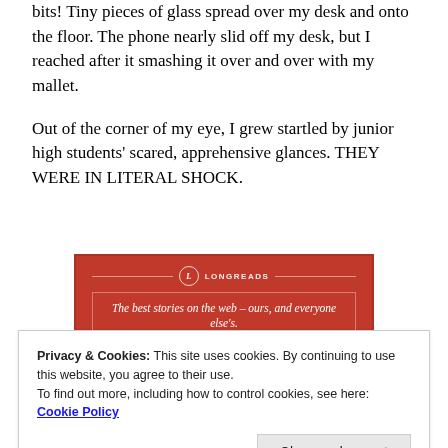bits! Tiny pieces of glass spread over my desk and onto the floor. The phone nearly slid off my desk, but I reached after it smashing it over and over with my mallet.
Out of the corner of my eye, I grew startled by junior high students' scared, apprehensive glances. THEY WERE IN LITERAL SHOCK.
[Figure (other): Longreads advertisement banner with red background. Shows Longreads logo and tagline: 'The best stories on the web – ours, and everyone else's.']
Privacy & Cookies: This site uses cookies. By continuing to use this website, you agree to their use.
To find out more, including how to control cookies, see here: Cookie Policy
Close and accept